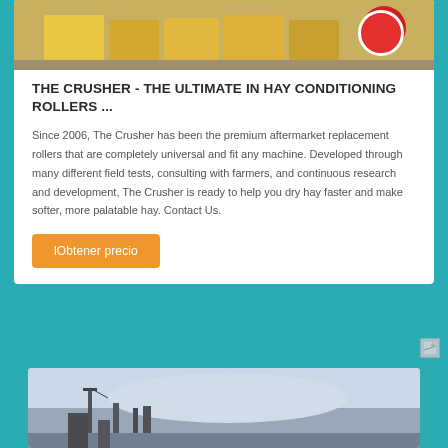[Figure (photo): Yellow industrial crusher/hay conditioning roller machine on a gray floor with red circular element visible]
THE CRUSHER - THE ULTIMATE IN HAY CONDITIONING ROLLERS ...
Since 2006, The Crusher has been the premium aftermarket replacement rollers that are completely universal and fit any machine. Developed through many different field tests, consulting with farmers, and continuous research and development, The Crusher is ready to help you dry hay faster and make softer, more palatable hay. Contact Us.
lObtener precio
[Figure (photo): Outdoor scene with cranes and industrial structures against a blue sky with clouds]